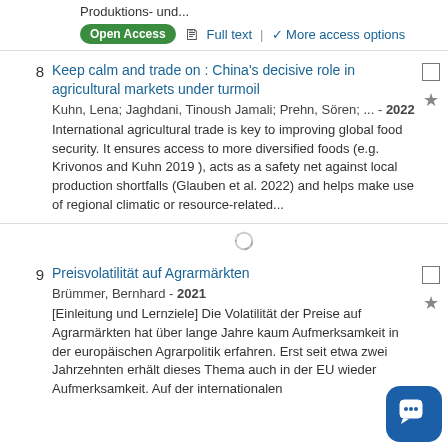Produktions- und...
Open Access  Full text  |  More access options
8  Keep calm and trade on : China's decisive role in agricultural markets under turmoil
Kuhn, Lena; Jaghdani, Tinoush Jamali; Prehn, Sören; ... - 2022
International agricultural trade is key to improving global food security. It ensures access to more diversified foods (e.g. Krivonos and Kuhn 2019 ), acts as a safety net against local production shortfalls (Glauben et al. 2022) and helps make use of regional climatic or resource-related...
9  Preisvolatilität auf Agrarmärkten
Brümmer, Bernhard - 2021
[Einleitung und Lernziele] Die Volatilität der Preise auf Agrarmärkten hat über lange Jahre kaum Aufmerksamkeit in der europäischen Agrarpolitik erfahren. Erst seit etwa zwei Jahrzehnten erhält dieses Thema auch in der EU wieder Aufmerksamkeit. Auf der internationalen